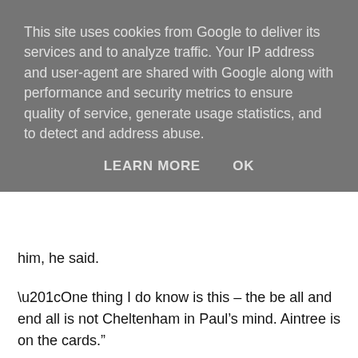This site uses cookies from Google to deliver its services and to analyze traffic. Your IP address and user-agent are shared with Google along with performance and security metrics to ensure quality of service, generate usage statistics, and to detect and address abuse.
LEARN MORE   OK
him, he said.
“One thing I do know is this – the be all and end all is not Cheltenham in Paul’s mind. Aintree is on the cards.”
With feedback like that from the man riding him, it’s no wonder that Next Destination features among Grand National day 2 tips & predictions for the Mildmay. Running him at both of the UK’s end-of-season jumps festivals is not out of the question either.
Nicholls has plenty of options for Next Destination this spring. While his entry in the Stayers’ Hurdle at Cheltenham looks precautionary, given how well he has taken to fences, choosing between the Festival Novices’ Chase (best known